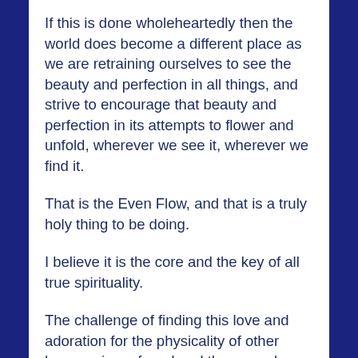If this is done wholeheartedly then the world does become a different place as we are retraining ourselves to see the beauty and perfection in all things, and strive to encourage that beauty and perfection in its attempts to flower and unfold, wherever we see it, wherever we find it.
That is the Even Flow, and that is a truly holy thing to be doing.
I believe it is the core and the key of all true spirituality.
The challenge of finding this love and adoration for the physicality of other humans is profound and the rewards are equally profound in every way.
Beauty T is the first of a whole new breed of energetic healing strategies, one that works ONLY with the power of joy and the beauty of the creative order, and